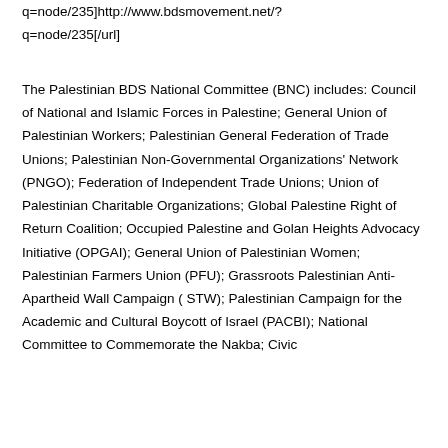q=node/235]http://www.bdsmovement.net/?q=node/235[/url]
The Palestinian BDS National Committee (BNC) includes: Council of National and Islamic Forces in Palestine; General Union of Palestinian Workers; Palestinian General Federation of Trade Unions; Palestinian Non-Governmental Organizations' Network (PNGO); Federation of Independent Trade Unions; Union of Palestinian Charitable Organizations; Global Palestine Right of Return Coalition; Occupied Palestine and Golan Heights Advocacy Initiative (OPGAI); General Union of Palestinian Women; Palestinian Farmers Union (PFU); Grassroots Palestinian Anti-Apartheid Wall Campaign ( STW); Palestinian Campaign for the Academic and Cultural Boycott of Israel (PACBI); National Committee to Commemorate the Nakba; Civic